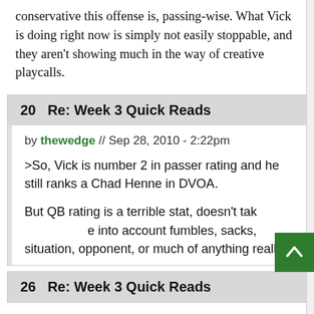conservative this offense is, passing-wise. What Vick is doing right now is simply not easily stoppable, and they aren't showing much in the way of creative playcalls.
20   Re: Week 3 Quick Reads
by thewedge // Sep 28, 2010 - 2:22pm
>So, Vick is number 2 in passer rating and he still ranks a Chad Henne in DVOA.

But QB rating is a terrible stat, doesn't take into account fumbles, sacks, situation, opponent, or much of anything really.
26   Re: Week 3 Quick Reads